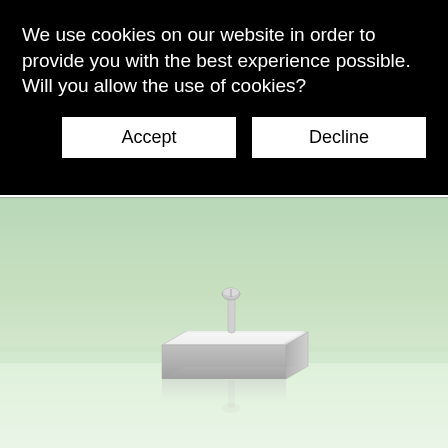We use cookies on our website in order to provide you with the best experience possible. Will you allow the use of cookies?
[Figure (screenshot): Two buttons: Accept and Decline, shown on black background as part of a cookie consent banner]
[Figure (photo): Product photo of a small metallic square component with a screw/bolt on top, placed on a reflective white surface against a light green background]